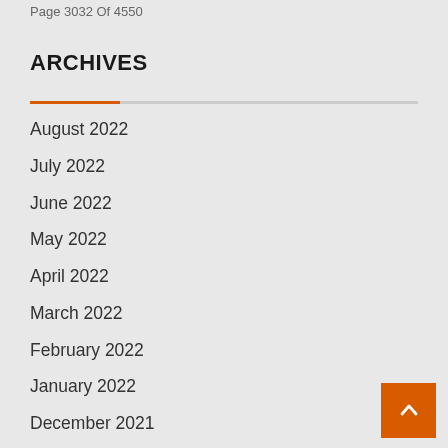Page 3032 Of 4550
ARCHIVES
August 2022
July 2022
June 2022
May 2022
April 2022
March 2022
February 2022
January 2022
December 2021